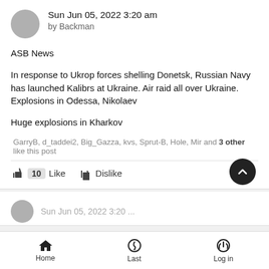Sun Jun 05, 2022 3:20 am by Backman
ASB News
In response to Ukrop forces shelling Donetsk, Russian Navy has launched Kalibrs at Ukraine. Air raid all over Ukraine. Explosions in Odessa, Nikolaev
Huge explosions in Kharkov
GarryB, d_taddei2, Big_Gazza, kvs, Sprut-B, Hole, Mir and 3 other like this post
10  Like  Dislike
Home  Last  Log in